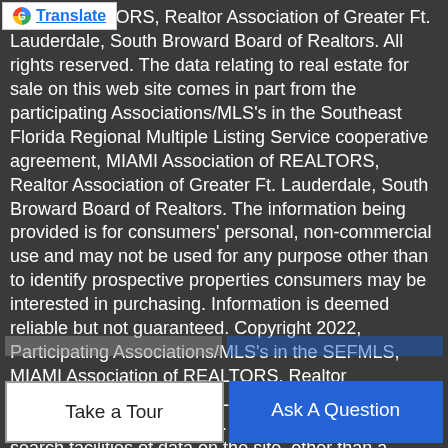[Figure (logo): Google Translate button with G logo and blue Translate link text]
ion of REALTORS, Realtor Association of Greater Ft. Lauderdale, South Broward Board of Realtors. All rights reserved. The data relating to real estate for sale on this web site comes in part from the participating Associations/MLS's in the Southeast Florida Regional Multiple Listing Service cooperative agreement, MIAMI Association of REALTORS, Realtor Association of Greater Ft. Lauderdale, South Broward Board of Realtors. The information being provided is for consumers' personal, non-commercial use and may not be used for any purpose other than to identify prospective properties consumers may be interested in purchasing. Information is deemed reliable but not guaranteed. Copyright 2022, Participating Associations/MLS's in the SEFMLS, MIAMI Association of REALTORS, Realtor Association of Greater Ft. Lauderdale, South Broward Board of Realtors. All rights reserved. Use of search facilities of data on the site, other than a consumer looking to purchase real estate, is prohibited. Data last updated 2022-08-30T07:51:18.057.
Take a Tour
Ask A Question